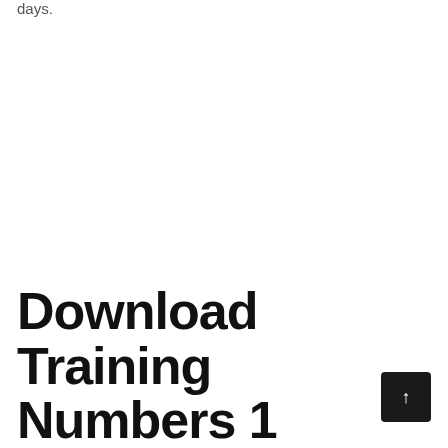days.
Download Training Numbers 1